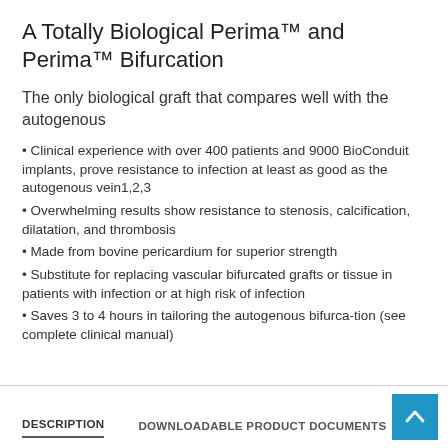A Totally Biological Perima™ and Perima™ Bifurcation
The only biological graft that compares well with the autogenous
Clinical experience with over 400 patients and 9000 BioConduit implants, prove resistance to infection at least as good as the autogenous vein1,2,3
Overwhelming results show resistance to stenosis, calcification, dilatation, and thrombosis
Made from bovine pericardium for superior strength
Substitute for replacing vascular bifurcated grafts or tissue in patients with infection or at high risk of infection
Saves 3 to 4 hours in tailoring the autogenous bifurca-tion (see complete clinical manual)
DESCRIPTION   DOWNLOADABLE PRODUCT DOCUMENTS